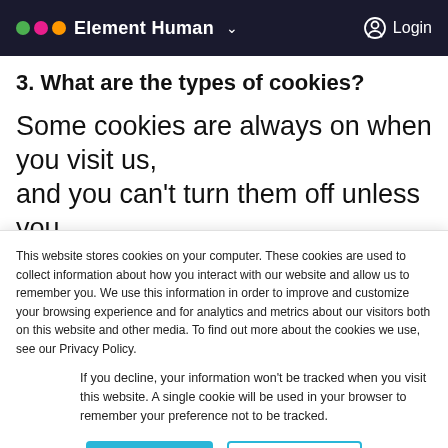Element Human  Login
3. What are the types of cookies?
Some cookies are always on when you visit us, and you can't turn them off unless you
This website stores cookies on your computer. These cookies are used to collect information about how you interact with our website and allow us to remember you. We use this information in order to improve and customize your browsing experience and for analytics and metrics about our visitors both on this website and other media. To find out more about the cookies we use, see our Privacy Policy.
If you decline, your information won't be tracked when you visit this website. A single cookie will be used in your browser to remember your preference not to be tracked.
Accept   Decline